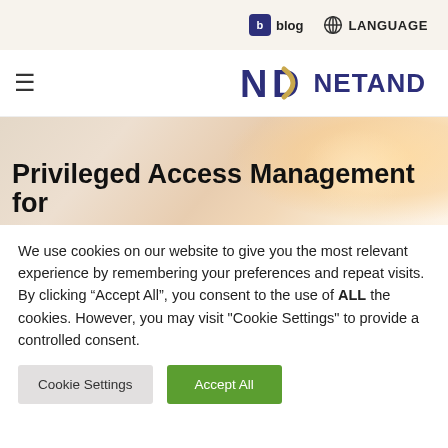blog  LANGUAGE
[Figure (logo): NETAND logo with stylized N and D lettermark in dark navy and gold colors]
[Figure (photo): Hero banner background with soft warm bokeh light effect, beige and peach tones]
Privileged Access Management for
We use cookies on our website to give you the most relevant experience by remembering your preferences and repeat visits. By clicking “Accept All”, you consent to the use of ALL the cookies. However, you may visit "Cookie Settings" to provide a controlled consent.
Cookie Settings  Accept All